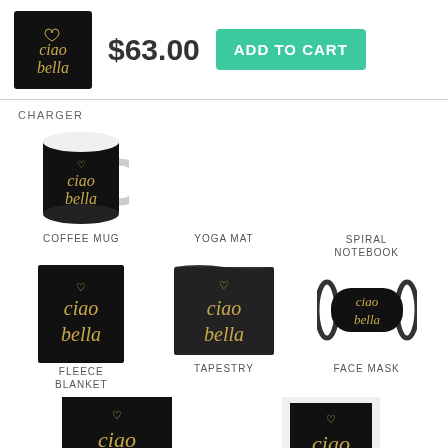[Figure (screenshot): Product thumbnail showing Ciao Bella design on black square with gold script text]
$63.00
ADD TO CART
CHARGER
[Figure (photo): Coffee mug with black background and gold Ciao Bella script]
COFFEE MUG
YOGA MAT
SPIRAL NOTEBOOK
[Figure (photo): Fleece blanket with black background and gold Ciao Bella script]
[Figure (photo): Tapestry with black background and gold Ciao Bella script]
[Figure (photo): Face mask with black background and gold Ciao Bella script]
FLEECE BLANKET
TAPESTRY
FACE MASK
[Figure (photo): Bottom product with Ciao Bella design, partially visible]
[Figure (photo): Bottom product with Ciao Bella design on black, partially visible]